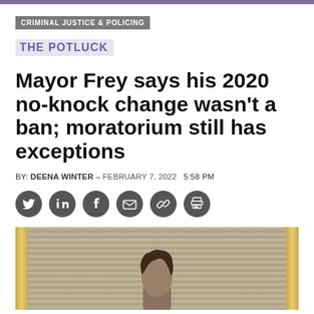CRIMINAL JUSTICE & POLICING
THE POTLUCK
Mayor Frey says his 2020 no-knock change wasn't a ban; moratorium still has exceptions
BY: DEENA WINTER – FEBRUARY 7, 2022  5:58 PM
[Figure (other): Social media share icons: Twitter, LinkedIn, Facebook, Email, Link, Print]
[Figure (photo): Photo of Mayor Frey from the shoulders up, in front of a gold-framed window with venetian blinds]